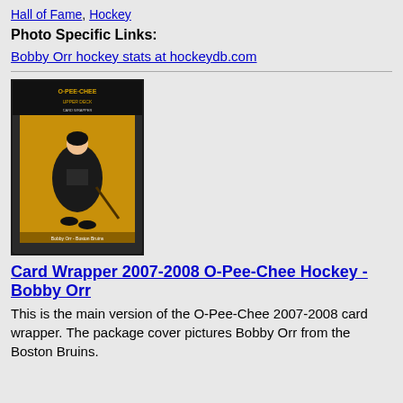Hall of Fame, Hockey
Photo Specific Links:
Bobby Orr hockey stats at hockeydb.com
[Figure (photo): O-Pee-Chee 2007-2008 hockey card wrapper featuring Bobby Orr from the Boston Bruins]
Card Wrapper 2007-2008 O-Pee-Chee Hockey - Bobby Orr
This is the main version of the O-Pee-Chee 2007-2008 card wrapper. The package cover pictures Bobby Orr from the Boston Bruins.